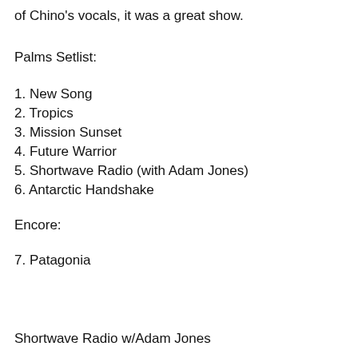of Chino's vocals, it was a great show.
Palms Setlist:
1. New Song
2. Tropics
3. Mission Sunset
4. Future Warrior
5. Shortwave Radio (with Adam Jones)
6. Antarctic Handshake
Encore:
7. Patagonia
Shortwave Radio w/Adam Jones